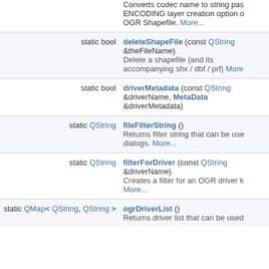| Type | Function/Description |
| --- | --- |
|  | Converts codec name to string passed as ENCODING layer creation option of OGR Shapefile. More... |
| static bool | deleteShapeFile (const QString &theFileName)
Delete a shapefile (and its accompanying shx / dbf / prf) More... |
| static bool | driverMetadata (const QString &driverName, MetaData &driverMetadata)
 |
| static QString | fileFilterString ()
Returns filter string that can be used in dialogs. More... |
| static QString | filterForDriver (const QString &driverName)
Creates a filter for an OGR driver k More... |
| static QMap< QString, QString > | ogrDriverList ()
Returns driver list that can be used... |